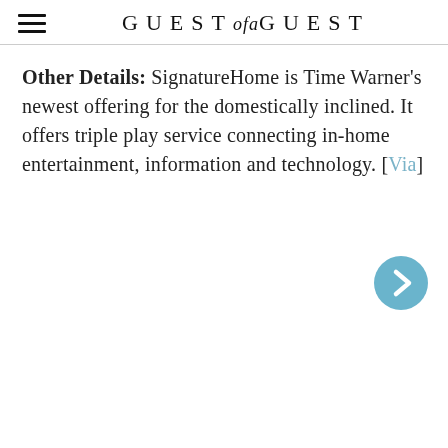GUEST of a GUEST
Other Details: SignatureHome is Time Warner's newest offering for the domestically inclined. It offers triple play service connecting in-home entertainment, information and technology. [Via]
[Figure (other): Blue circular next/forward arrow button]